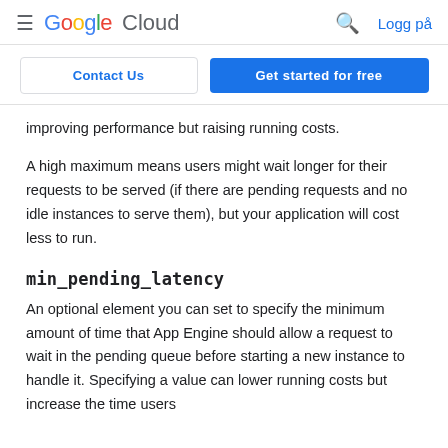Google Cloud  🔍  Logg på
Contact Us
Get started for free
improving performance but raising running costs.
A high maximum means users might wait longer for their requests to be served (if there are pending requests and no idle instances to serve them), but your application will cost less to run.
min_pending_latency
An optional element you can set to specify the minimum amount of time that App Engine should allow a request to wait in the pending queue before starting a new instance to handle it. Specifying a value can lower running costs but increase the time users